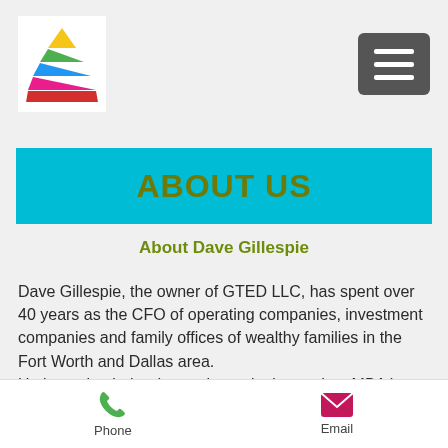[Figure (logo): Colorful pyramid logo with layered colors (yellow, green, blue, pink, red) on white background]
[Figure (other): Dark gray hamburger menu button with three white horizontal lines]
ABOUT US
About Dave Gillespie
Dave Gillespie, the owner of GTED LLC, has spent over 40 years as the CFO of operating companies, investment companies and family offices of wealthy families in the Fort Worth and Dallas area.
He has a bachelor degree in marketing and an MBA in accounting. He has been licensed as a CPA in California and Texas.
Phone   Email